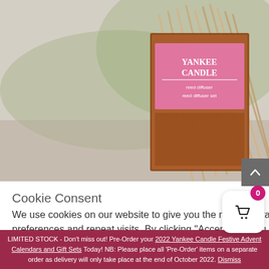[Figure (photo): Yankee Candle product image with reed diffuser sticks in the background]
Cookie Consent
We use cookies on our website to give you the most relevant experience by remembering your preferences and repeat visits. By clicking “Accept All”, you consent to the use of ALL the cookies. However, you may visit "Cookie Settings" to provide a controlled consent.
LIMITED STOCK - Don’t miss out! Pre-Order your 2022 Yankee Candle Festive Advent Calendars and Gift Sets Today! NB: Please place all ‘Pre-Order’ items on a separate order as delivery will only take place at the end of October 2022. Dismiss